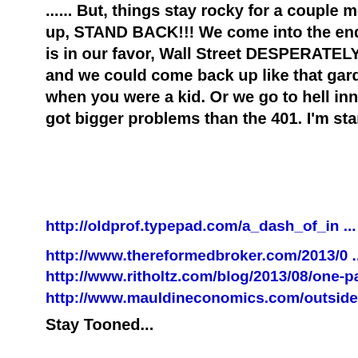...... But, things stay rocky for a couple more weeks, up, STAND BACK!!! We come into the end of the year, se is in our favor, Wall Street DESPERATELY needs to run s and we could come back up like that garden rake you st when you were a kid. Or we go to hell inna handbasket a got bigger problems than the 401. I'm standing pat. Fer b
http://oldprof.typepad.com/a_dash_of_in ... -fear.html
http://www.thereformedbroker.com/2013/0 ... -of-humor/
http://www.ritholtz.com/blog/2013/08/one-party-state/
http://www.mauldineconomics.com/outside ... t-schmexi
Stay Tooned...